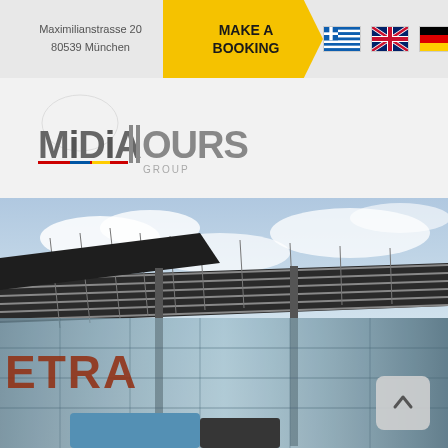Maximilianstrasse 20 80539 München | MAKE A BOOKING
[Figure (logo): MiDiA Tours Group logo with stylized text and motorcycle/tour imagery]
[Figure (photo): Modern glass building with steel lattice roof canopy, partial SETRA lettering visible on facade, buses in foreground, cloudy sky]